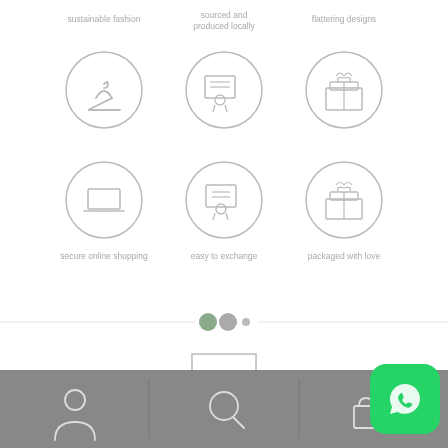[Figure (infographic): Top row of three feature icons with labels above: 'sustainable fashion', 'sourced and produced locally', 'flattering designs'. Each icon is inside a circle outline.]
[Figure (infographic): Bottom row of three feature icons with labels below: 'secure online shopping' (laptop icon), 'easy to exchange' (certificate icon), 'packaged with love' (gift box icon). Each icon is inside a circle outline.]
[Figure (infographic): Carousel dots indicator: two larger filled circles (green/grey) and one smaller dot]
[Figure (logo): WWW? logo in a square border]
WE WEAR WHAT?
[Figure (infographic): Grey footer navigation bar with person/account icon, search icon, and shopping bag icon. WhatsApp green button in bottom right corner.]